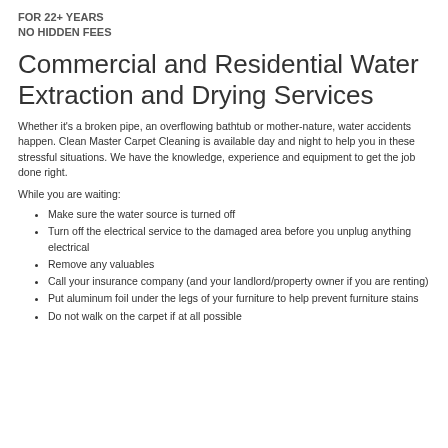FOR 22+ YEARS
NO HIDDEN FEES
Commercial and Residential Water Extraction and Drying Services
Whether it's a broken pipe, an overflowing bathtub or mother-nature, water accidents happen. Clean Master Carpet Cleaning is available day and night to help you in these stressful situations. We have the knowledge, experience and equipment to get the job done right.
While you are waiting:
Make sure the water source is turned off
Turn off the electrical service to the damaged area before you unplug anything electrical
Remove any valuables
Call your insurance company (and your landlord/property owner if you are renting)
Put aluminum foil under the legs of your furniture to help prevent furniture stains
Do not walk on the carpet if at all possible